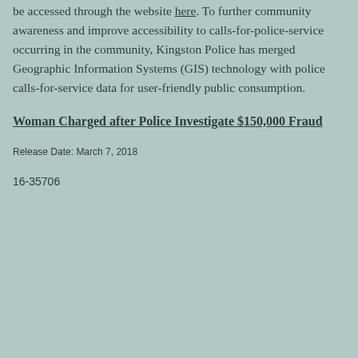be accessed through the website here. To further community awareness and improve accessibility to calls-for-police-service occurring in the community, Kingston Police has merged Geographic Information Systems (GIS) technology with police calls-for-service data for user-friendly public consumption.
Woman Charged after Police Investigate $150,000 Fraud
Release Date: March 7, 2018
16-35706